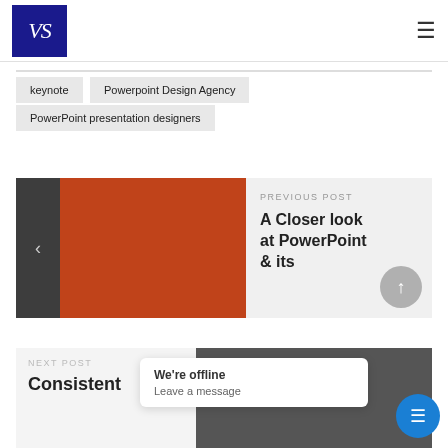[Figure (logo): VS logo in dark blue square, white stylized VS letters]
keynote
Powerpoint Design Agency
PowerPoint presentation designers
[Figure (photo): Previous post image: dark grey left strip with arrow, orange/red rectangle block]
PREVIOUS POST
A Closer look at PowerPoint & its
NEXT POST
Consistent
We're offline
Leave a message